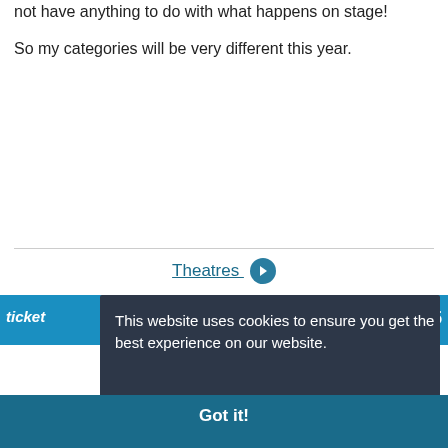not have anything to do with what happens on stage!
So my categories will be very different this year.
Theatres →
ticket
5
This website uses cookies to ensure you get the best experience on our website.
Learn more
Got it!